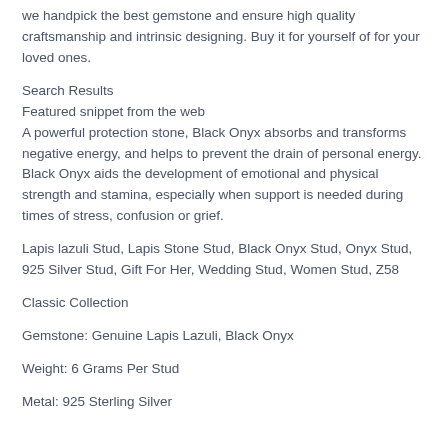we handpick the best gemstone and ensure high quality craftsmanship and intrinsic designing. Buy it for yourself of for your loved ones.
Search Results
Featured snippet from the web
A powerful protection stone, Black Onyx absorbs and transforms negative energy, and helps to prevent the drain of personal energy. Black Onyx aids the development of emotional and physical strength and stamina, especially when support is needed during times of stress, confusion or grief.
Lapis lazuli Stud, Lapis Stone Stud, Black Onyx Stud, Onyx Stud, 925 Silver Stud, Gift For Her, Wedding Stud, Women Stud, Z58
Classic Collection
Gemstone: Genuine Lapis Lazuli, Black Onyx
Weight: 6 Grams Per Stud
Metal: 925 Sterling Silver